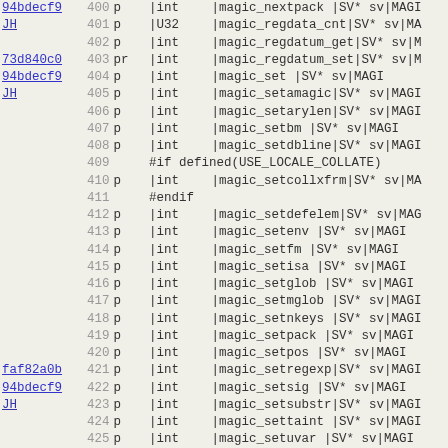| hash | num | flag | type | function |
| --- | --- | --- | --- | --- |
| 94bdecf9 | 400 | p | |int | |magic_nextpack |SV* sv|MAGI |
| JH | 401 | p | |U32 | |magic_regdata_cnt|SV* sv|MA |
|  | 402 | p | |int | |magic_regdatum_get|SV* sv|M |
| 73d840c0 | 403 | pr | |int | |magic_regdatum_set|SV* sv|M |
| 94bdecf9 | 404 | p | |int | |magic_set         |SV* sv|MAGI |
| JH | 405 | p | |int | |magic_setamagic|SV* sv|MAGI |
|  | 406 | p | |int | |magic_setarylen|SV* sv|MAGI |
|  | 407 | p | |int | |magic_setbm     |SV* sv|MAGI |
|  | 408 | p | |int | |magic_setdbline|SV* sv|MAGI |
|  | 409 |  | #if defined(USE_LOCALE_COLLATE) |  |
|  | 410 | p | |int | |magic_setcollxfrm|SV* sv|MA |
|  | 411 |  | #endif |  |
|  | 412 | p | |int | |magic_setdefelem|SV* sv|MAG |
|  | 413 | p | |int | |magic_setenv     |SV* sv|MAGI |
|  | 414 | p | |int | |magic_setfm      |SV* sv|MAGI |
|  | 415 | p | |int | |magic_setisa      |SV* sv|MAGI |
|  | 416 | p | |int | |magic_setglob    |SV* sv|MAGI |
|  | 417 | p | |int | |magic_setmglob  |SV* sv|MAGI |
|  | 418 | p | |int | |magic_setnkeys  |SV* sv|MAGI |
|  | 419 | p | |int | |magic_setpack    |SV* sv|MAGI |
|  | 420 | p | |int | |magic_setpos      |SV* sv|MAGI |
| faf82a0b | 421 | p | |int | |magic_setregexp|SV* sv|MAGI |
| 94bdecf9 | 422 | p | |int | |magic_setsig      |SV* sv|MAGI |
| JH | 423 | p | |int | |magic_setsubstr|SV* sv|MAGI |
|  | 424 | p | |int | |magic_settaint   |SV* sv|MAGI |
|  | 425 | p | |int | |magic_setuvar    |SV* sv|MAGI |
|  | 426 | p | |int | |magic_setvec      |SV* sv|MAGI |
| 7e8c5dac | 427 | p | |int | |magic_setutf8    |SV* sv|MAGI |
| 94bdecf9 | 428 | p | |int | |magic_set_all_env|SV* sv|MA |
| JH | 429 | p | |U32 | |magic_sizepack  |SV* sv|MAGI |
|  | 430 | p | |int | |magic_wipepack  |SV* sv|MAGI |
| e1ec3a88 | 431 | p | |void | |magicname        |const char* |